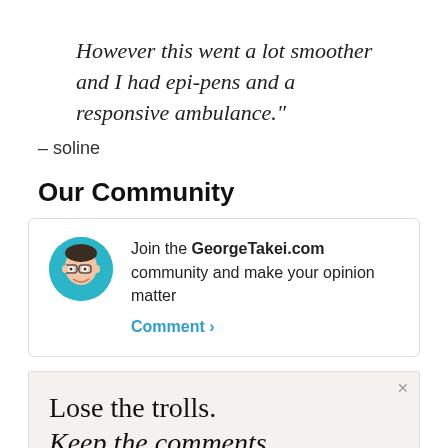However this went a lot smoother and I had epi-pens and a responsive ambulance."
– soline
Our Community
Join the GeorgeTakei.com community and make your opinion matter Comment >
[Figure (other): Advertisement: Lose the trolls. Keep the comments.]